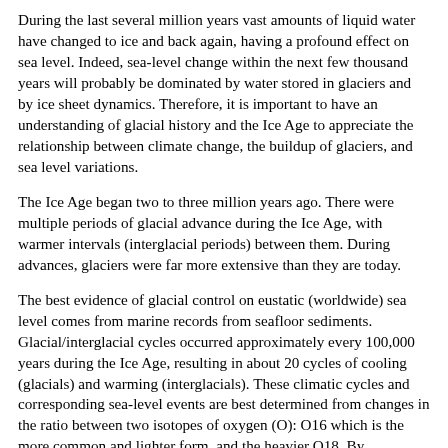During the last several million years vast amounts of liquid water have changed to ice and back again, having a profound effect on sea level. Indeed, sea-level change within the next few thousand years will probably be dominated by water stored in glaciers and by ice sheet dynamics. Therefore, it is important to have an understanding of glacial history and the Ice Age to appreciate the relationship between climate change, the buildup of glaciers, and sea level variations.
The Ice Age began two to three million years ago. There were multiple periods of glacial advance during the Ice Age, with warmer intervals (interglacial periods) between them. During advances, glaciers were far more extensive than they are today.
The best evidence of glacial control on eustatic (worldwide) sea level comes from marine records from seafloor sediments. Glacial/interglacial cycles occurred approximately every 100,000 years during the Ice Age, resulting in about 20 cycles of cooling (glacials) and warming (interglacials). These climatic cycles and corresponding sea-level events are best determined from changes in the ratio between two isotopes of oxygen (O): O16 which is the more common and lighter form, and the heavier O18. By measuring O18/O16 ratios in the calcium carbonate shells of small marine organisms (foraminifera) retrieved from the sea floor, scientists can determine climatic conditions that existed in the past.